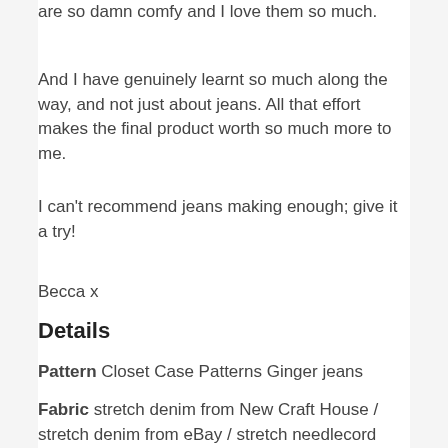are so damn comfy and I love them so much.
And I have genuinely learnt so much along the way, and not just about jeans. All that effort makes the final product worth so much more to me.
I can't recommend jeans making enough; give it a try!
Becca x
Details
Pattern Closet Case Patterns Ginger jeans
Fabric stretch denim from New Craft House / stretch denim from eBay / stretch needlecord from Bobbins and Bolts
My measurements